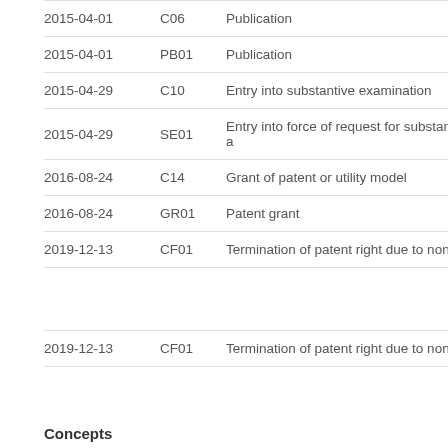| Date | Code | Event |
| --- | --- | --- |
| 2015-04-01 | C06 | Publication |
| 2015-04-01 | PB01 | Publication |
| 2015-04-29 | C10 | Entry into substantive examination |
| 2015-04-29 | SE01 | Entry into force of request for substantive exa… |
| 2016-08-24 | C14 | Grant of patent or utility model |
| 2016-08-24 | GR01 | Patent grant |
| 2019-12-13 | CF01 | Termination of patent right due to non-payme… |
| Date | Code | Event |
| --- | --- | --- |
| 2019-12-13 | CF01 | Termination of patent right due to non-payme… |
Concepts